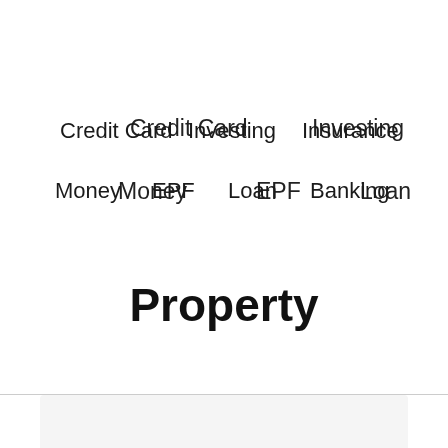Credit Card
Investing
Insurance
Money
EPF
Loan
Banking
Property